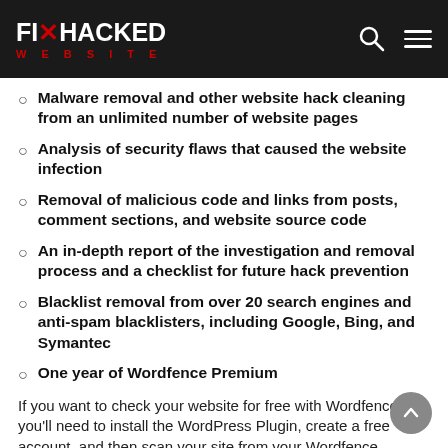FIX HACKED WEBSITE
Malware removal and other website hack cleaning from an unlimited number of website pages
Analysis of security flaws that caused the website infection
Removal of malicious code and links from posts, comment sections, and website source code
An in-depth report of the investigation and removal process and a checklist for future hack prevention
Blacklist removal from over 20 search engines and anti-spam blacklisters, including Google, Bing, and Symantec
One year of Wordfence Premium
If you want to check your website for free with Wordfence, you'll need to install the WordPress Plugin, create a free account, and then scan your site from your Wordfence account.